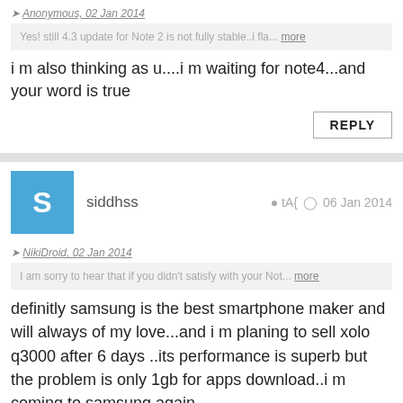Anonymous, 02 Jan 2014
Yes! still 4.3 update for Note 2 is not fully stable..i fla... more
i m also thinking as u....i m waiting for note4...and your word is true
REPLY
siddhss   tA{   06 Jan 2014
NikiDroid, 02 Jan 2014
I am sorry to hear that if you didn't satisfy with your Not... more
definitly samsung is the best smartphone maker and will always of my love...and i m planing to sell xolo q3000 after 6 days ..its performance is superb but the problem is only 1gb for apps download..i m coming to samsung again